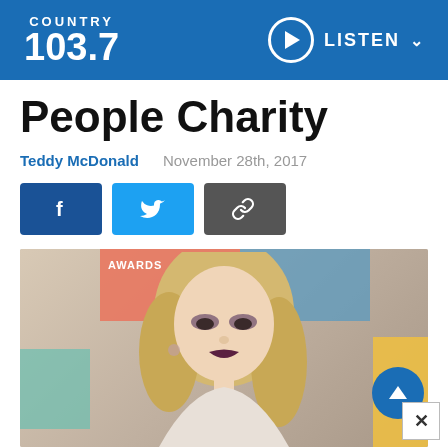COUNTRY 103.7 — LISTEN
People Charity
Teddy McDonald   November 28th, 2017
[Figure (infographic): Social sharing buttons: Facebook (f), Twitter (bird), and link/chain icon]
[Figure (photo): Photo of a young blonde woman with wavy hair and dark lipstick, at what appears to be an awards event, with colorful backdrop panels]